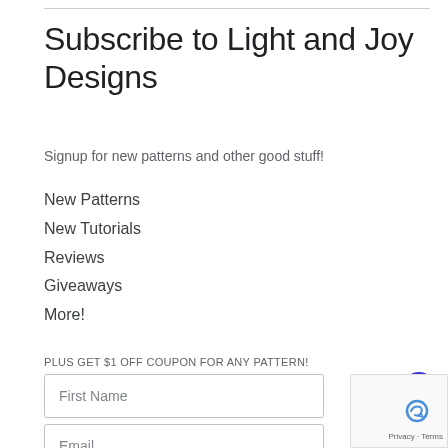Subscribe to Light and Joy Designs
Signup for new patterns and other good stuff!
New Patterns
New Tutorials
Reviews
Giveaways
More!
PLUS GET $1 OFF COUPON FOR ANY PATTERN!
First Name
Email